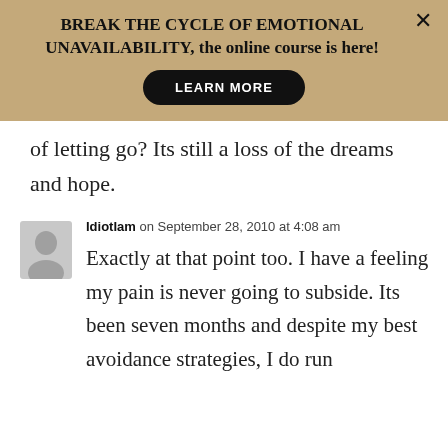[Figure (other): Promotional banner with tan/khaki background. Text reads 'BREAK THE CYCLE OF EMOTIONAL UNAVAILABILITY, the online course is here!' with a black rounded 'LEARN MORE' button and an X close button.]
of letting go? Its still a loss of the dreams and hope.
IdiotIam on September 28, 2010 at 4:08 am
Exactly at that point too. I have a feeling my pain is never going to subside. Its been seven months and despite my best avoidance strategies, I do run